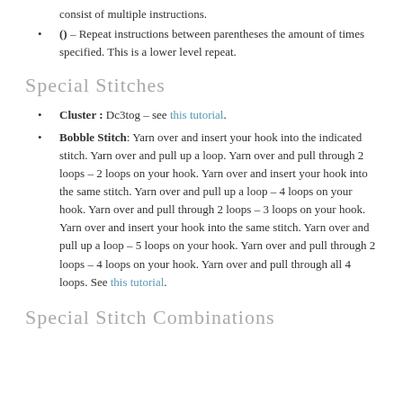consist of multiple instructions.
() – Repeat instructions between parentheses the amount of times specified. This is a lower level repeat.
Special Stitches
Cluster : Dc3tog – see this tutorial.
Bobble Stitch: Yarn over and insert your hook into the indicated stitch. Yarn over and pull up a loop. Yarn over and pull through 2 loops – 2 loops on your hook. Yarn over and insert your hook into the same stitch. Yarn over and pull up a loop – 4 loops on your hook. Yarn over and pull through 2 loops – 3 loops on your hook. Yarn over and insert your hook into the same stitch. Yarn over and pull up a loop – 5 loops on your hook. Yarn over and pull through 2 loops – 4 loops on your hook. Yarn over and pull through all 4 loops. See this tutorial.
Special Stitch Combinations